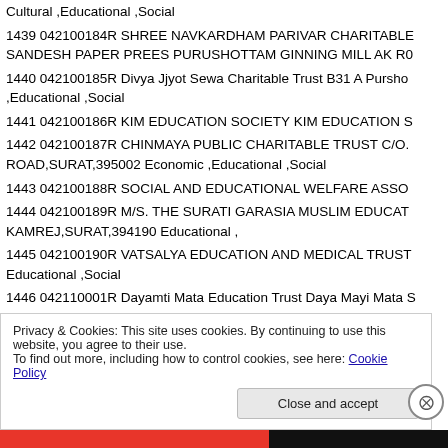Cultural ,Educational ,Social
1439 042100184R SHREE NAVKARDHAM PARIVAR CHARITABLE SANDESH PAPER PREES PURUSHOTTAM GINNING MILL AK RO
1440 042100185R Divya Jjyot Sewa Charitable Trust B31 A Pursho ,Educational ,Social
1441 042100186R KIM EDUCATION SOCIETY KIM EDUCATION S
1442 042100187R CHINMAYA PUBLIC CHARITABLE TRUST C/O. ROAD,SURAT,395002 Economic ,Educational ,Social
1443 042100188R SOCIAL AND EDUCATIONAL WELFARE ASSO
1444 042100189R M/S. THE SURATI GARASIA MUSLIM EDUCAT KAMREJ,SURAT,394190 Educational ,
1445 042100190R VATSALYA EDUCATION AND MEDICAL TRUST Educational ,Social
1446 042110001R Dayamti Mata Education Trust Daya Mayi Mata S
1447 042110002R Davamavi Mata Trust Dava Mavi Mata Scho
Privacy & Cookies: This site uses cookies. By continuing to use this website, you agree to their use.
To find out more, including how to control cookies, see here: Cookie Policy
Close and accept